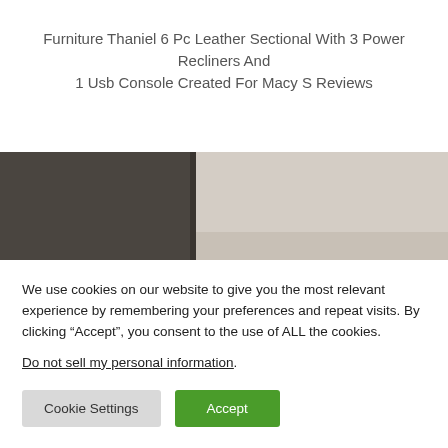Furniture Thaniel 6 Pc Leather Sectional With 3 Power Recliners And 1 Usb Console Created For Macy S Reviews
[Figure (photo): Partial photo of what appears to be a corner of a room with beige/neutral tones, showing a wall and floor area, possibly furniture in the background.]
We use cookies on our website to give you the most relevant experience by remembering your preferences and repeat visits. By clicking “Accept”, you consent to the use of ALL the cookies.
Do not sell my personal information.